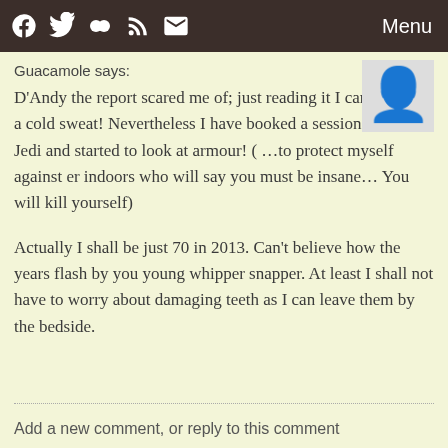Facebook Twitter Flickr RSS Mail Menu
Guacamole says:
D'Andy the report scared me of; just reading it I came out in a cold sweat! Nevertheless I have booked a session with the Jedi and started to look at armour! ( …to protect myself against er indoors who will say you must be insane… You will kill yourself)

Actually I shall be just 70 in 2013. Can't believe how the years flash by you young whipper snapper. At least I shall not have to worry about damaging teeth as I can leave them by the bedside.
Add a new comment, or reply to this comment